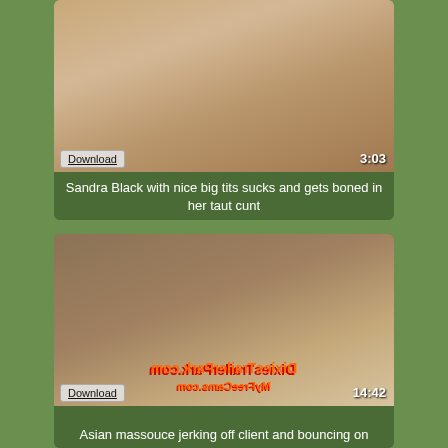[Figure (photo): Video thumbnail showing a blonde woman in a towel, bathroom setting. Shows Download button and duration 3:03.]
Sandra Black with nice big tits sucks and gets boned in her taut cunt
[Figure (photo): Video thumbnail showing a woman in a bathroom scene. Shows Download button, duration 14:42, and DixiesTrailerPark.com watermark mirrored.]
Asian massouce jerking off client and bouncing on